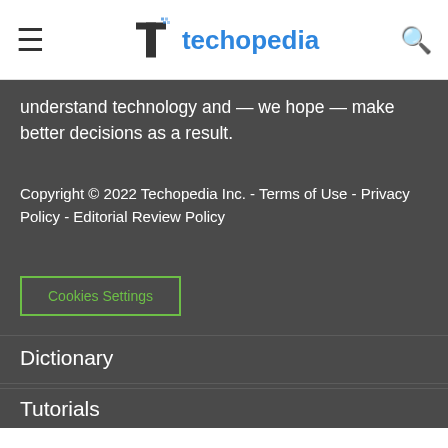techopedia
understand technology and — we hope — make better decisions as a result.
Copyright © 2022 Techopedia Inc. - Terms of Use - Privacy Policy - Editorial Review Policy
Cookies Settings
Dictionary
Topics
Tutorials